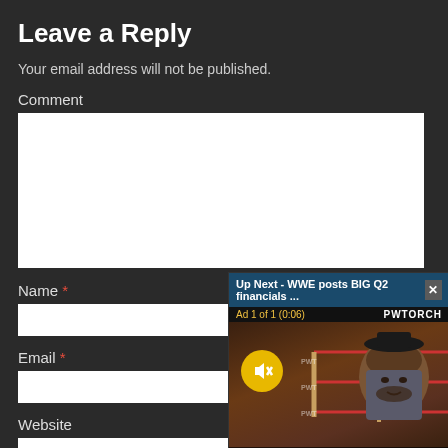Leave a Reply
Your email address will not be published.
Comment
Name *
Email *
Website
[Figure (screenshot): Video overlay popup with header 'Up Next - WWE posts BIG Q2 financials ...' and close button X, showing ad 1 of 1 (0:06) from PWTORCH, with a video thumbnail of Zack Heydom (@zheydorntorch) sitting in front of a wrestling ring with ropes. A mute button (speaker with X) is visible. NEWSWIRE label appears at bottom right.]
POST COMMENT